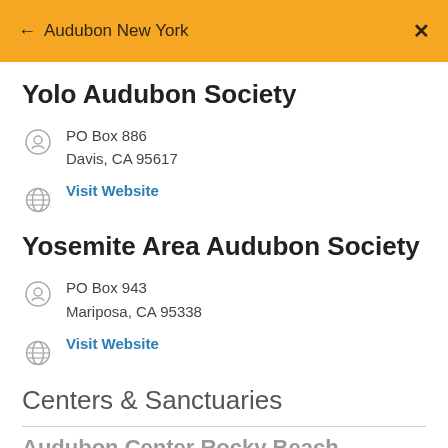← Audubon New York  ✕
Yolo Audubon Society
PO Box 886
Davis, CA 95617
Visit Website
Yosemite Area Audubon Society
PO Box 943
Mariposa, CA 95338
Visit Website
Centers & Sanctuaries
Audubon Center Rocky Beach...